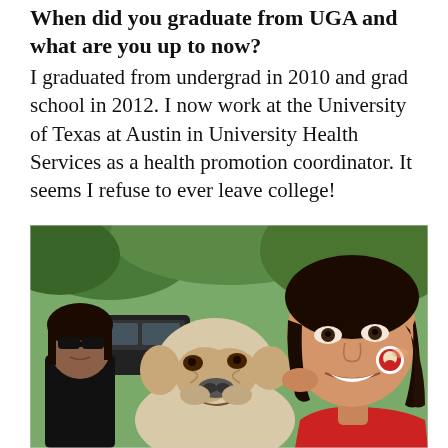When did you graduate from UGA and what are you up to now?
I graduated from undergrad in 2010 and grad school in 2012. I now work at the University of Texas at Austin in University Health Services as a health promotion coordinator. It seems I refuse to ever leave college!
[Figure (photo): A smiling young woman with dark hair holding a bulldog puppy, with a Georgia Bulldogs mascot sticker on her cheek. Another woman wearing sunglasses is visible in the background on the left, along with trees and cars.]